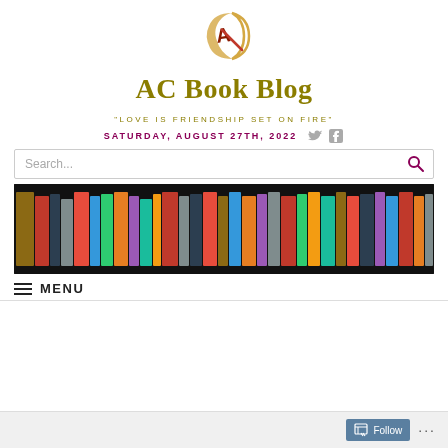[Figure (logo): AC Book Blog logo: crescent moon shape in gold/orange with a stylized red 'A' letter and red diagonal line]
AC Book Blog
"LOVE IS FRIENDSHIP SET ON FIRE"
SATURDAY, AUGUST 27TH, 2022
[Figure (photo): A bookshelf photograph showing many colorful books arranged spine-out on a dark/black background]
MENU
Follow